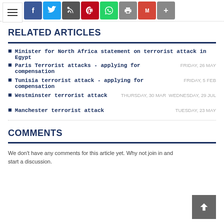Social share icons and menu
RELATED ARTICLES
Minister for North Africa statement on terrorist attack in Egypt
Paris Terrorist attacks - applying for compensation  FRIDAY, 26 MAY
Tunisia terrorist attack - applying for compensation  FRIDAY, 5 FEB
Westminster terrorist attack  THURSDAY, 30 MAR  WEDNESDAY, 29 JUL
Manchester terrorist attack  TUESDAY, 23 MAY
COMMENTS
We don't have any comments for this article yet. Why not join in and start a discussion.